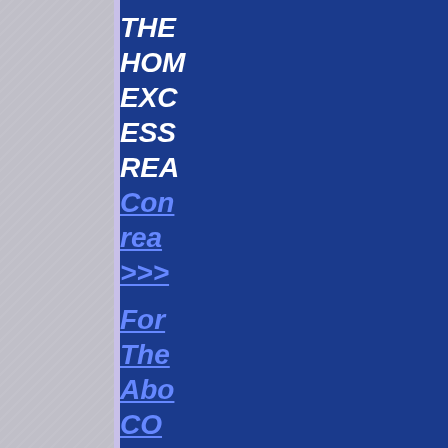[Figure (other): Page layout with a gray textured left panel and a dark blue right panel containing partially visible italic bold navigation text in white and blue/underlined link style. Text is clipped at the right edge.]
THE
HOM
EXC
ESS
REA
Con
rea
>>>

For
The
Abo
co
Sav
The
Pla
He
The
R...